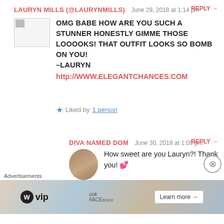LAURYN MILLS (@LAURYNMILLS)   June 29, 2018 at 1:14 pm   REPLY →
OMG BABE HOW ARE YOU SUCH A STUNNER HONESTLY GIMME THOSE LOOOOKS! THAT OUTFIT LOOKS SO BOMB ON YOU! –LAURYN http://WWW.ELEGANTCHANCES.COM
★ Liked by 1 person
DIVA NAMED DOM   June 30, 2018 at 1:09 pm   REPLY →
How sweet are you Lauryn?! Thank you! 💕
Advertisements
[Figure (other): WordPress VIP advertisement banner with map/Facebook imagery and Learn more button]